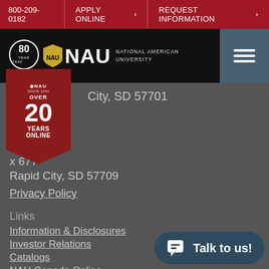800-209-0182 | APPLY ONLINE > | REQUEST INFORMATION >
[Figure (logo): National American University logo with 80 years badge and hamburger menu]
[Figure (logo): NAU Over 20 Years Online badge]
City, SD 57701
x 677
Rapid City, SD 57709
Privacy Policy
Links
Information & Disclosures
Investor Relations
Catalogs
NAU Canada Online
Request Transcript
COVID-19
NAU Gear Shop